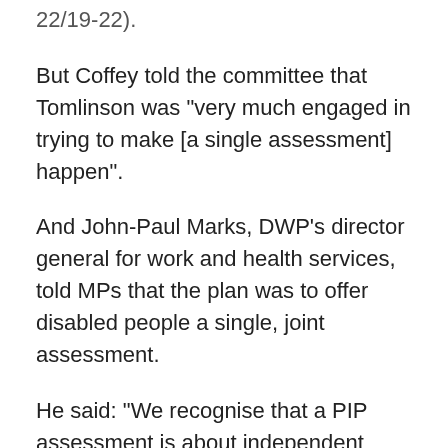22/19-22).
But Coffey told the committee that Tomlinson was "very much engaged in trying to make [a single assessment] happen".
And John-Paul Marks, DWP's director general for work and health services, told MPs that the plan was to offer disabled people a single, joint assessment.
He said: "We recognise that a PIP assessment is about independent living and the employment and support allowance assessment is about fitness for work and these are not the same thing, so we have got to be careful about understanding how this would improve customer experience.
"Would it improve trust, would it improve engagement,